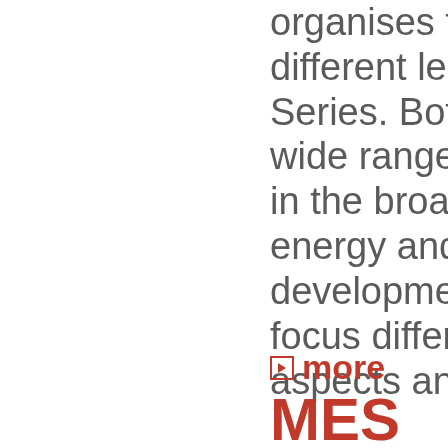organises two different lecture Series. Both covers a wide range of topics in the broad field of energy and development but focus different aspects and areas.
► more
MES